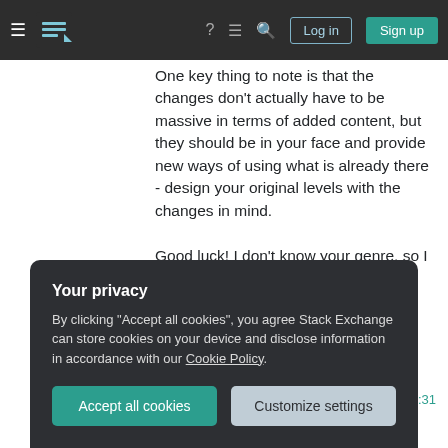Stack Exchange navigation bar with hamburger menu, logo, help, chat, search icons, Log in and Sign up buttons
One key thing to note is that the changes don't actually have to be massive in terms of added content, but they should be in your face and provide new ways of using what is already there - design your original levels with the changes in mind.

Good luck! I don't know your genre, so I tried to keep this fairly generic.
Share
edited Sep 24, 2014 at 18:31
Improve this answer
Your privacy
By clicking "Accept all cookies", you agree Stack Exchange can store cookies on your device and disclose information in accordance with our Cookie Policy.
Accept all cookies
Customize settings